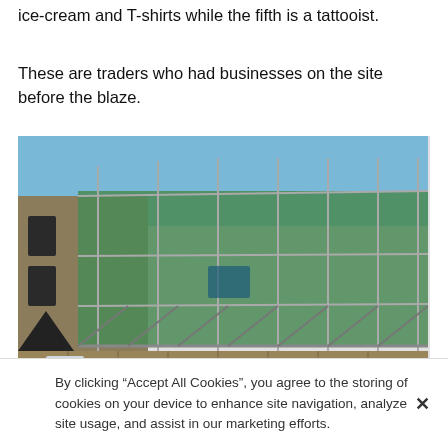ice-cream and T-shirts while the fifth is a tattooist.
These are traders who had businesses on the site before the blaze.
[Figure (photo): A building under construction covered with green scaffolding netting, with wooden hoarding at street level and a blue sky in the background.]
Scaffolding has been coming down from the new development
By clicking “Accept All Cookies”, you agree to the storing of cookies on your device to enhance site navigation, analyze site usage, and assist in our marketing efforts.